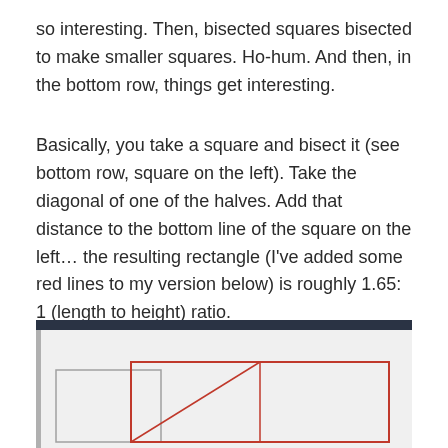so interesting. Then, bisected squares bisected to make smaller squares. Ho-hum. And then, in the bottom row, things get interesting.
Basically, you take a square and bisect it (see bottom row, square on the left). Take the diagonal of one of the halves. Add that distance to the bottom line of the square on the left… the resulting rectangle (I've added some red lines to my version below) is roughly 1.65: 1 (length to height) ratio.
[Figure (photo): A photograph of a hand-drawn piece of paper showing geometric shapes: squares and rectangles outlined in pencil and red pen, with a diagonal line drawn across one of the bisected sections in the bottom row.]